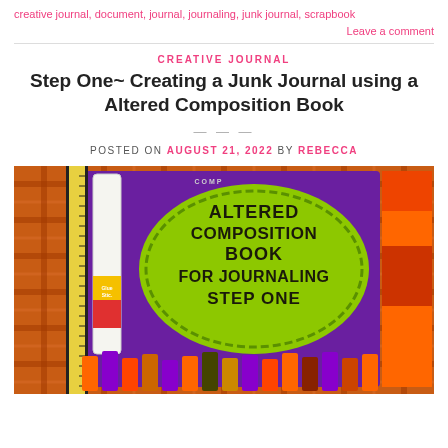creative journal, document, journal, journaling, junk journal, scrapbook
Leave a comment
CREATIVE JOURNAL
Step One~ Creating a Junk Journal using a Altered Composition Book
POSTED ON AUGUST 21, 2022 BY REBECCA
[Figure (photo): Photo of an altered composition book cover with green blob label reading ALTERED COMPOSITION BOOK FOR JOURNALING STEP ONE, surrounded by Halloween-themed ribbons, a ruler, and a glue stick on an orange plaid background.]